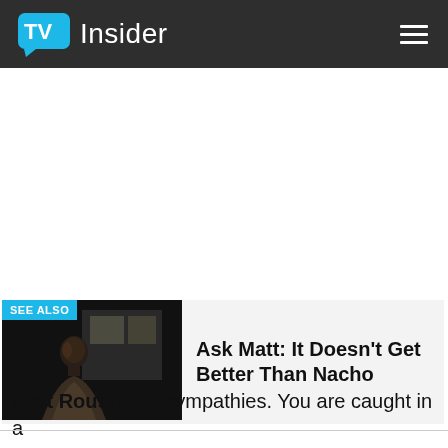TV Insider
[Figure (screenshot): Dark scene photo of a man in a dimly lit room, used as thumbnail for the 'See Also' article card]
SEE ALSO
Ask Matt: It Doesn't Get Better Than Nacho
Matt Roush: My sympathies. You are caught in a